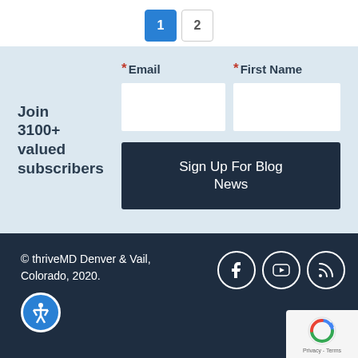[Figure (other): Pagination buttons showing page 1 (active, blue) and page 2 (inactive, white)]
Join 3100+ valued subscribers
* Email   * First Name
Sign Up For Blog News
© thriveMD Denver & Vail, Colorado, 2020.
[Figure (other): Social media icons: Facebook, YouTube, RSS feed in circular white-bordered icons]
[Figure (other): reCAPTCHA widget in bottom right corner with Privacy - Terms text]
[Figure (other): Accessibility icon (person in circle) in blue circle]